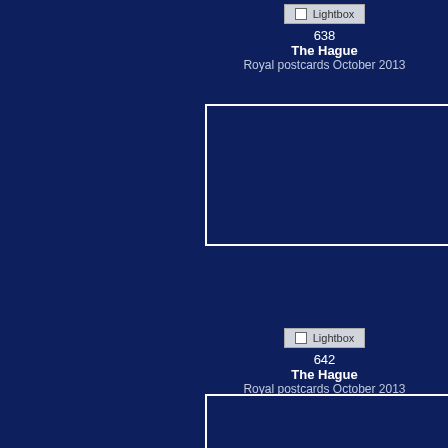[Figure (screenshot): Lightbox button UI element for item 638]
638
The Hague
Royal postcards October 2013
[Figure (photo): Empty image placeholder box with white border for item 638]
[Figure (screenshot): Lightbox button UI element for item 642]
642
The Hague
Royal postcards October 2013
[Figure (photo): Empty image placeholder box with white border for item 642]